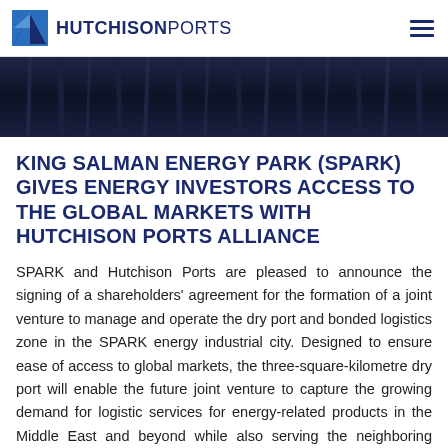HUTCHISON PORTS
[Figure (photo): Dark navy/black curtain or drape background image, used as hero banner]
KING SALMAN ENERGY PARK (SPARK) GIVES ENERGY INVESTORS ACCESS TO THE GLOBAL MARKETS WITH HUTCHISON PORTS ALLIANCE
SPARK and Hutchison Ports are pleased to announce the signing of a shareholders' agreement for the formation of a joint venture to manage and operate the dry port and bonded logistics zone in the SPARK energy industrial city. Designed to ensure ease of access to global markets, the three-square-kilometre dry port will enable the future joint venture to capture the growing demand for logistic services for energy-related products in the Middle East and beyond while also serving the neighboring industrial cities.